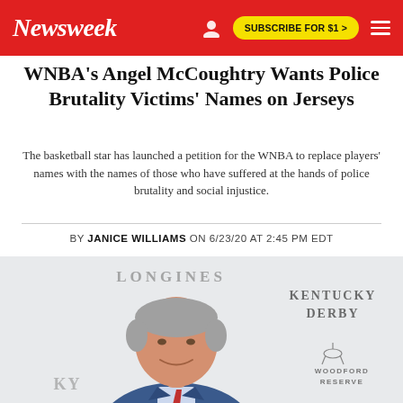Newsweek | SUBSCRIBE FOR $1 >
WNBA's Angel McCoughtry Wants Police Brutality Victims' Names on Jerseys
The basketball star has launched a petition for the WNBA to replace players' names with the names of those who have suffered at the hands of police brutality and social injustice.
BY JANICE WILLIAMS ON 6/23/20 AT 2:45 PM EDT
[Figure (photo): Man in blue suit smiling, photographed at Kentucky Derby event with Longines and Woodford Reserve branding visible in background]